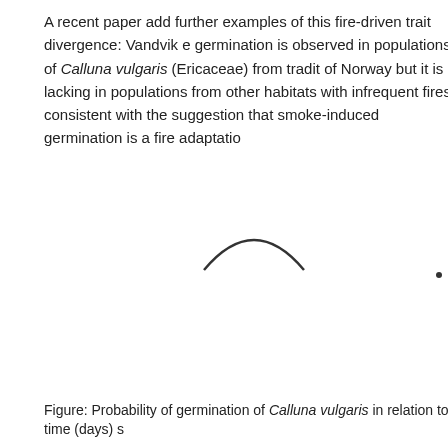A recent paper add further examples of this fire-driven trait divergence: Vandvik e germination is observed in populations of Calluna vulgaris (Ericaceae) from tradit of Norway but it is lacking in populations from other habitats with infrequent fires consistent with the suggestion that smoke-induced germination is a fire adaptatio
[Figure (continuous-plot): Partial view of a figure showing a curve (likely probability of germination vs time for Calluna vulgaris), only the top portion of the curve is visible — appears to be a line or survival/germination curve, cropped.]
Figure: Probability of germination of Calluna vulgaris in relation to time (days) s